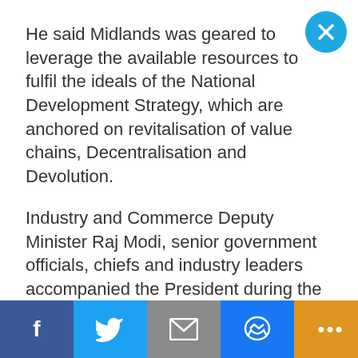He said Midlands was geared to leverage the available resources to fulfil the ideals of the National Development Strategy, which are anchored on revitalisation of value chains, Decentralisation and Devolution.
Industry and Commerce Deputy Minister Raj Modi, senior government officials, chiefs and industry leaders accompanied the President during the tour.
Share This:
[Figure (infographic): Social share buttons: Facebook (blue), Twitter (light blue), Email (gray), Messenger (blue), More (orange/gold dots). Next Article link on the right.]